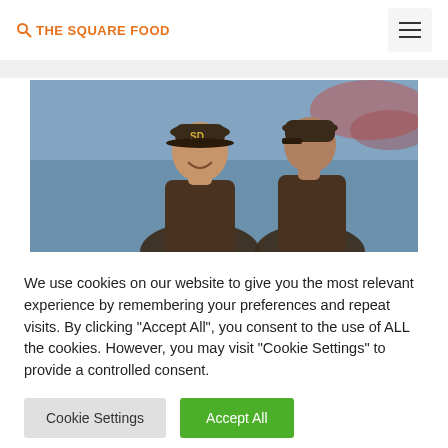THE SQUARE FOOD
[Figure (photo): Two baseball players wearing brown San Diego Padres caps, one facing forward laughing, the other with back turned, stadium background]
We use cookies on our website to give you the most relevant experience by remembering your preferences and repeat visits. By clicking “Accept All”, you consent to the use of ALL the cookies. However, you may visit "Cookie Settings" to provide a controlled consent.
Cookie Settings | Accept All